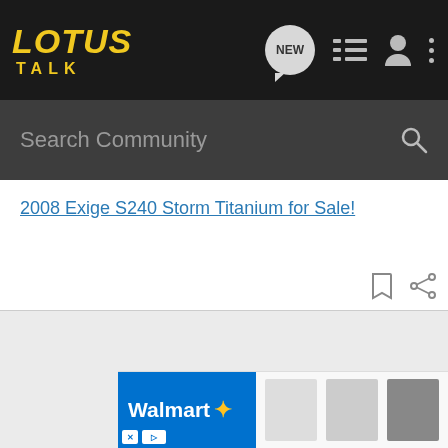[Figure (screenshot): Lotus Talk community forum website header with logo, navigation icons (NEW chat, list, user, dots), search bar, post title link, action icons, gray content area, and Walmart advertisement banner]
2008 Exige S240 Storm Titanium for Sale!